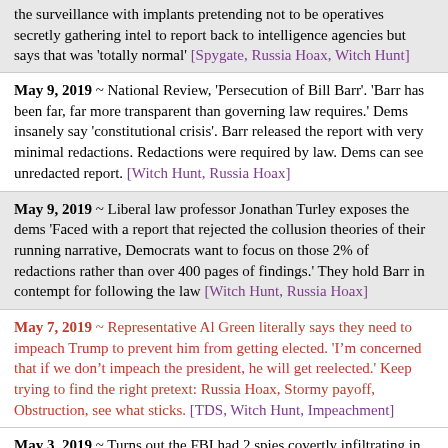the surveillance with implants pretending not to be operatives secretly gathering intel to report back to intelligence agencies but says that was 'totally normal' [Spygate, Russia Hoax, Witch Hunt]
May 9, 2019 ~ National Review, 'Persecution of Bill Barr'. 'Barr has been far, far more transparent than governing law requires.' Dems insanely say 'constitutional crisis'. Barr released the report with very minimal redactions. Redactions were required by law. Dems can see unredacted report. [Witch Hunt, Russia Hoax]
May 9, 2019 ~ Liberal law professor Jonathan Turley exposes the dems 'Faced with a report that rejected the collusion theories of their running narrative, Democrats want to focus on those 2% of redactions rather than over 400 pages of findings.' They hold Barr in contempt for following the law [Witch Hunt, Russia Hoax]
May 7, 2019 ~ Representative Al Green literally says they need to impeach Trump to prevent him from getting elected. 'I'm concerned that if we don't impeach the president, he will get reelected.' Keep trying to find the right pretext: Russia Hoax, Stormy payoff, Obstruction, see what sticks. [TDS, Witch Hunt, Impeachment]
May 3, 2019 ~ Turns out the FBI had 2 spies covertly infiltrating in the Trump campaign. Stephan Halper and Azra Turk. Turk was posing as Halper's assistant. She flirted with Papadopoulos while